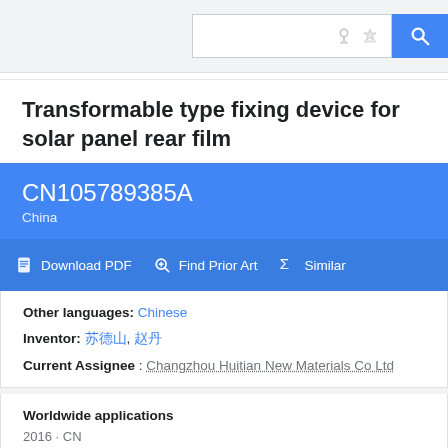Search bar with icons
Transformable type fixing device for solar panel rear film
CN105789385A
China
Download PDF  Find Prior Art  Similar
Other languages: Chinese
Inventor: [Chinese characters], [Chinese characters]
Current Assignee : Changzhou Huitian New Materials Co Ltd
Worldwide applications
2016 · CN